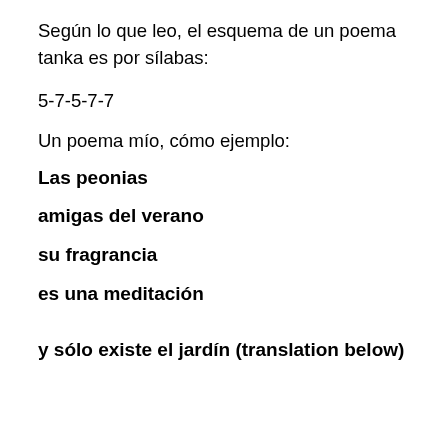Según lo que leo, el esquema de un poema tanka es por sílabas:
5-7-5-7-7
Un poema mío, cómo ejemplo:
Las peonias
amigas del verano
su fragrancia
es una meditación
y sólo existe el jardín (translation below)